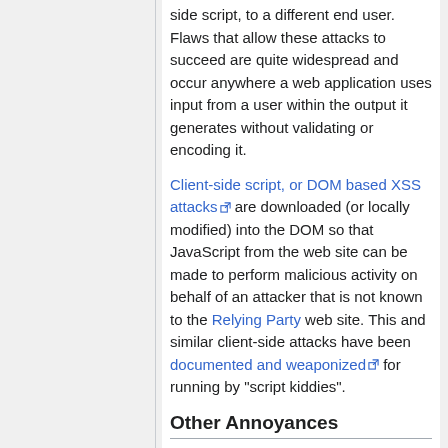side script, to a different end user. Flaws that allow these attacks to succeed are quite widespread and occur anywhere a web application uses input from a user within the output it generates without validating or encoding it.
Client-side script, or DOM based XSS attacks are downloaded (or locally modified) into the DOM so that JavaScript from the web site can be made to perform malicious activity on behalf of an attacker that is not known to the Relying Party web site. This and similar client-side attacks have been documented and weaponized for running by "script kiddies".
Other Annoyances
iFrames bring other annoyances, like messing up the behavior of the back